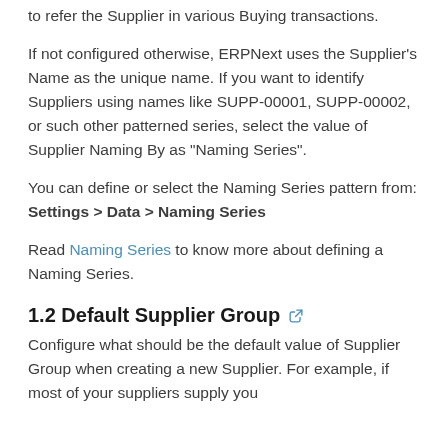to refer the Supplier in various Buying transactions.
If not configured otherwise, ERPNext uses the Supplier's Name as the unique name. If you want to identify Suppliers using names like SUPP-00001, SUPP-00002, or such other patterned series, select the value of Supplier Naming By as "Naming Series".
You can define or select the Naming Series pattern from: Settings > Data > Naming Series
Read Naming Series to know more about defining a Naming Series.
1.2 Default Supplier Group
Configure what should be the default value of Supplier Group when creating a new Supplier. For example, if most of your suppliers supply you